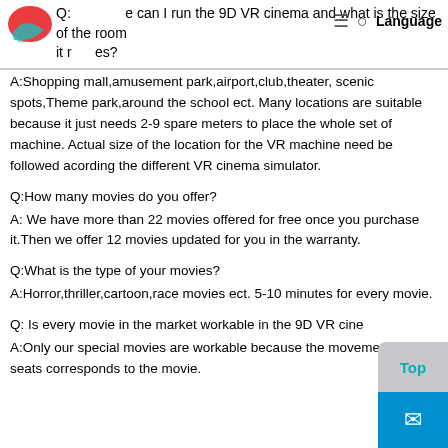Q: Where can I run the 9D VR cinema and what is the size of the room it requires?
A:Shopping mall,amusement park,airport,club,theater, scenic spots,Theme park,around the school ect. Many locations are suitable because it just needs 2-9 spare meters to place the whole set of machine. Actual size of the location for the VR machine need be followed acording the different VR cinema simulator.
Q:How many movies do you offer?
A: We have more than 22 movies offered for free once you purchase it.Then we offer 12 movies updated for you in the warranty.
Q:What is the type of your movies?
A:Horror,thriller,cartoon,race movies ect. 5-10 minutes for every movie.
Q: Is every movie in the market workable in the 9D VR cine
A:Only our special movies are workable because the moveme seats corresponds to the movie.